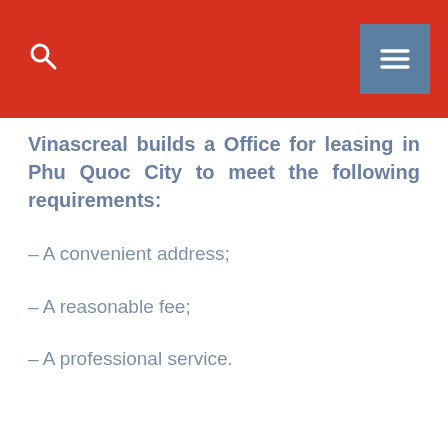Vinascreal builds a Office for leasing in Phu Quoc City to meet the following requirements:
– A convenient address;
– A reasonable fee;
– A professional service.